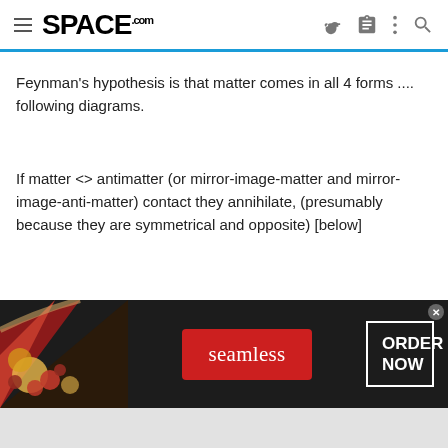SPACE.com
Feynman's hypothesis is that matter comes in all 4 forms .... following diagrams.
If matter <> antimatter (or mirror-image-matter and mirror-image-anti-matter) contact they annihilate, (presumably because they are symmetrical and opposite) [below]
Matter and Mirror-image-matter interact freely and normally (in
[Figure (screenshot): Advertisement banner for Seamless food delivery service showing pizza image on left, red Seamless button in center, and ORDER NOW button on right, on dark background]